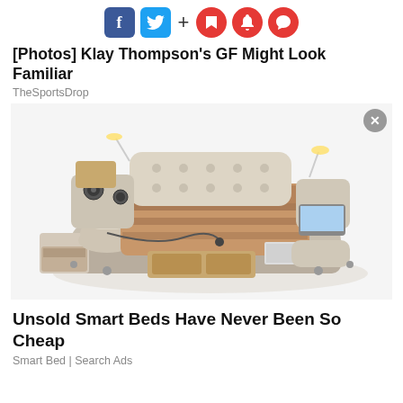[Figure (infographic): Social media share/follow icons: Facebook (blue), Twitter (blue), plus sign, and three red circular icons (bookmark, bell, speech bubble)]
[Photos] Klay Thompson's GF Might Look Familiar
TheSportsDrop
[Figure (photo): A luxury smart bed with multiple features including speakers, massage recliner, storage drawers, reading lamps, and a laptop stand, shown in cream/beige color with a close (X) button in the corner]
Unsold Smart Beds Have Never Been So Cheap
Smart Bed | Search Ads